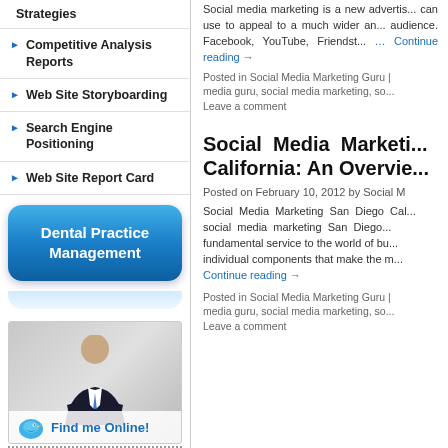Strategies
Competitive Analysis Reports
Web Site Storyboarding
Search Engine Positioning
Web Site Report Card
[Figure (illustration): Blue rounded button labeled Dental Practice Management]
[Figure (photo): Photo of a bald man in a black suit with a blue Twitter bird icon and Find me Online text]
Social media marketing is a new advertis... can use to appeal to a much wider an... audience. Facebook, YouTube, Friendst... … Continue reading →
Posted in Social Media Marketing Guru | media guru, social media marketing, so... Leave a comment
Social Media Marketing California: An Overview
Posted on February 10, 2012 by Social M
Social Media Marketing San Diego Cal... social media marketing San Diego... fundamental service to the world of bu... individual components that make the m... Continue reading →
Posted in Social Media Marketing Guru | media guru, social media marketing, so... Leave a comment